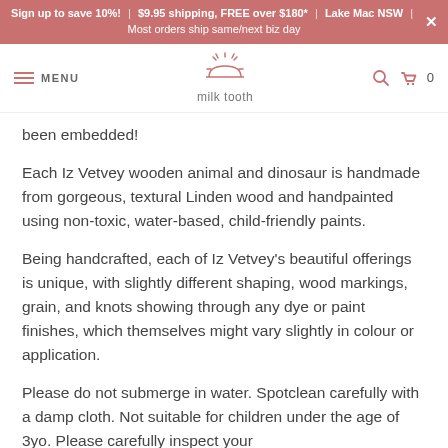Sign up to save 10%! | $9.95 shipping, FREE over $180* | Lake Mac NSW | Most orders ship same/next biz day
MENU | milktooth | 0
been embedded!
Each Iz Vetvey wooden animal and dinosaur is handmade from gorgeous, textural Linden wood and handpainted using non-toxic, water-based, child-friendly paints.
Being handcrafted, each of Iz Vetvey's beautiful offerings is unique, with slightly different shaping, wood markings, grain, and knots showing through any dye or paint finishes, which themselves might vary slightly in colour or application.
Please do not submerge in water. Spotclean carefully with a damp cloth. Not suitable for children under the age of 3yo. Please carefully inspect your